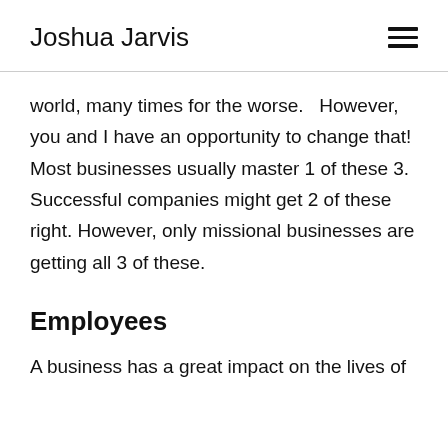Joshua Jarvis
world, many times for the worse.   However, you and I have an opportunity to change that! Most businesses usually master 1 of these 3. Successful companies might get 2 of these right. However, only missional businesses are getting all 3 of these.
Employees
A business has a great impact on the lives of